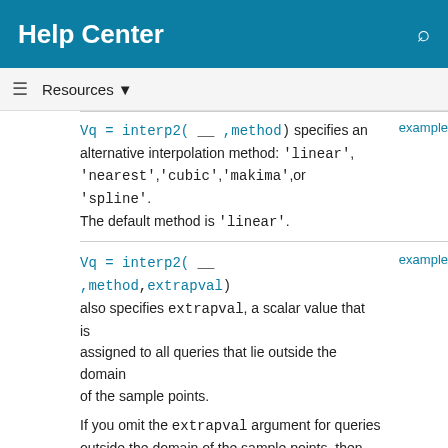Help Center
Resources ▼
Vq = interp2( __ ,method) specifies an alternative interpolation method: 'linear', 'nearest','cubic','makima',or 'spline'. The default method is 'linear'.
Vq = interp2( __ ,method,extrapval) also specifies extrapval, a scalar value that is assigned to all queries that lie outside the domain of the sample points.
If you omit the extrapval argument for queries outside the domain of the sample points, then based on the method argument interp2 returns one of the following:
Extrapolated values for the 'spline' and 'makima' methods
NaN values for other interpolation methods
Examples